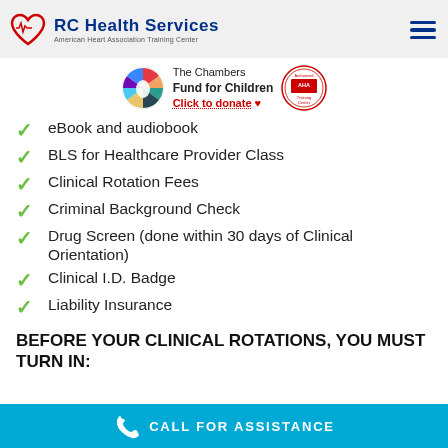RC Health Services - American Heart Association Training Center
[Figure (logo): The Chambers Fund for Children logo with globe icon and Click to donate heart, plus AHA Authorized Training Center badge]
eBook and audiobook
BLS for Healthcare Provider Class
Clinical Rotation Fees
Criminal Background Check
Drug Screen (done within 30 days of Clinical Orientation)
Clinical I.D. Badge
Liability Insurance
BEFORE YOUR CLINICAL ROTATIONS, YOU MUST TURN IN:
CALL FOR ASSISTANCE